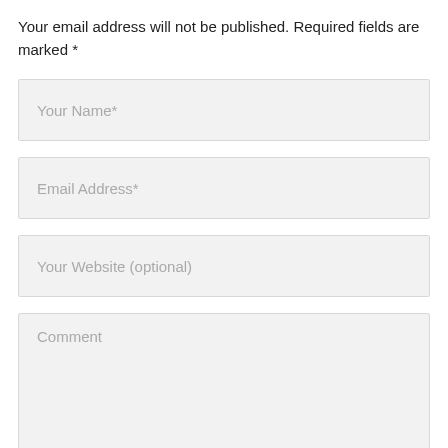Your email address will not be published. Required fields are marked *
Your Name*
Email Address*
Your Website (optional)
Comment